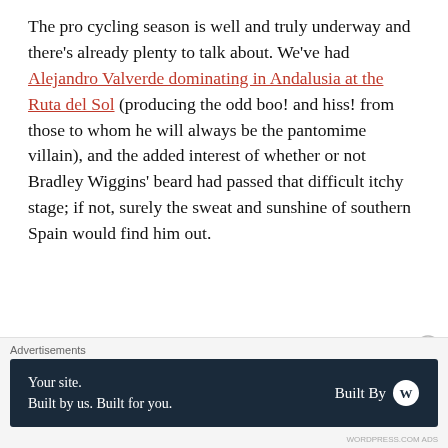The pro cycling season is well and truly underway and there's already plenty to talk about. We've had Alejandro Valverde dominating in Andalusia at the Ruta del Sol (producing the odd boo! and hiss! from those to whom he will always be the pantomime villain), and the added interest of whether or not Bradley Wiggins' beard had passed that difficult itchy stage; if not, surely the sweat and sunshine of southern Spain would find him out.
Chris Froome won impressively in the Tour of Oman, his performance on the Queen Stage up 'Green Mountain' surely causing particular consternation and a collective groan of disappointment from his Tour de
[Figure (other): Advertisement banner: 'Your site. Built by us. Built for you.' with Built By WordPress logo on dark navy background]